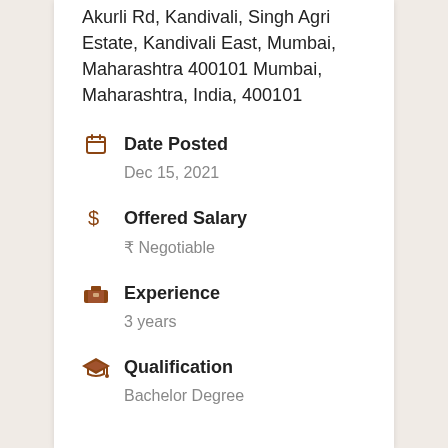Akurli Rd, Kandivali, Singh Agri Estate, Kandivali East, Mumbai, Maharashtra 400101 Mumbai, Maharashtra, India, 400101
Date Posted
Dec 15, 2021
Offered Salary
₹ Negotiable
Experience
3 years
Qualification
Bachelor Degree